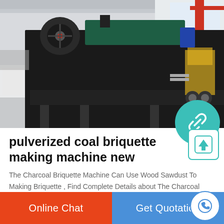[Figure (photo): Industrial photo of a large black pulverized coal briquette making machine inside a factory/warehouse. A forklift is visible in the background on the right. The machine is a heavy industrial press/roller machine sitting on a steel frame.]
pulverized coal briquette making machine new
The Charcoal Briquette Machine Can Use Wood Sawdust To Making Briquette , Find Complete Details about The Charcoal Briquette Machine Can Use Wood Sawdust To Making Briquette,Birquette Machine,Coal Briquette Machine,Briquette from Energy Saving